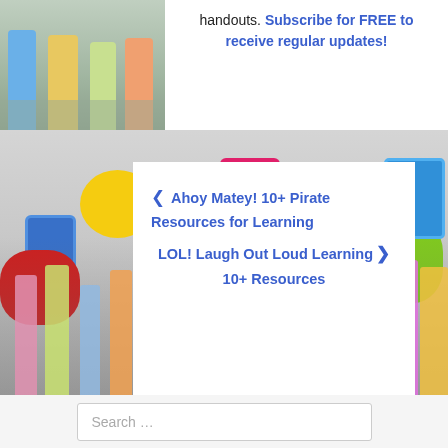[Figure (photo): Children standing together, partial view on left side]
handouts. Subscribe for FREE to receive regular updates!
[Figure (photo): Children with colorful speech bubbles in background, classroom/learning theme]
❮ Ahoy Matey! 10+ Pirate Resources for Learning
LOL! Laugh Out Loud Learning ❯ 10+ Resources
Search …